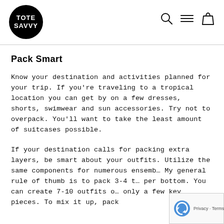[Figure (logo): Tote Savvy logo: white text 'TOTE SAVVY' on black circle]
[Figure (other): Navigation icons: search magnifier, hamburger menu lines, shopping bag]
Pack Smart
Know your destination and activities planned for your trip. If you're traveling to a tropical location you can get by on a few dresses, shorts, swimwear and sun accessories. Try not to overpack. You'll want to take the least amount of suitcases possible.
If your destination calls for packing extra layers, be smart about your outfits. Utilize the same components for numerous ensembles. My general rule of thumb is to pack 3-4 tops per bottom. You can create 7-10 outfits out of only a few key pieces. To mix it up, pack